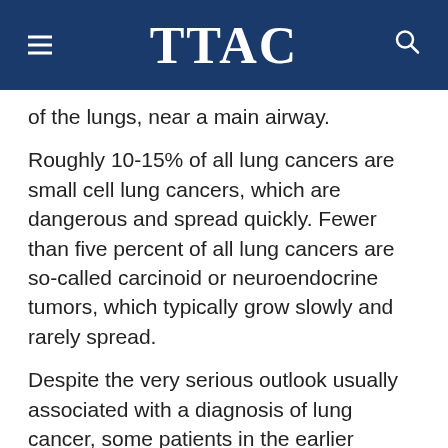TTAC
of the lungs, near a main airway.
Roughly 10-15% of all lung cancers are small cell lung cancers, which are dangerous and spread quickly. Fewer than five percent of all lung cancers are so-called carcinoid or neuroendocrine tumors, which typically grow slowly and rarely spread.
Despite the very serious outlook usually associated with a diagnosis of lung cancer, some patients in the earlier stages of this disease can be cured. Unfortunately, symptoms typically only occur when the disease is fairly well advanced.
Symptoms of lung cancer can include:
A new cough that doesn't go away